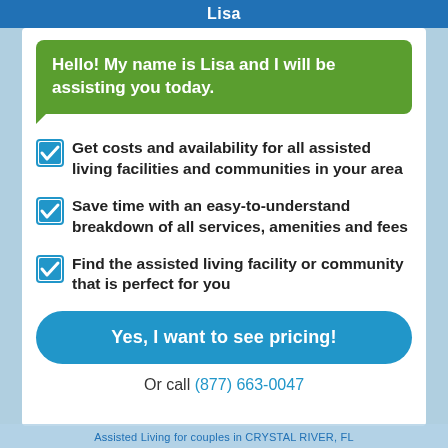Lisa
Hello! My name is Lisa and I will be assisting you today.
Get costs and availability for all assisted living facilities and communities in your area
Save time with an easy-to-understand breakdown of all services, amenities and fees
Find the assisted living facility or community that is perfect for you
Yes, I want to see pricing!
Or call (877) 663-0047
Assisted Living for couples in CRYSTAL RIVER, FL